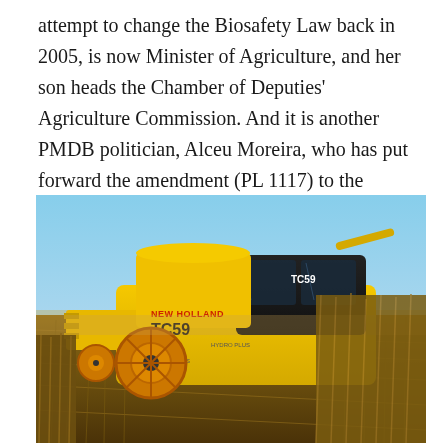attempt to change the Biosafety Law back in 2005, is now Minister of Agriculture, and her son heads the Chamber of Deputies' Agriculture Commission. And it is another PMDB politician, Alceu Moreira, who has put forward the amendment (PL 1117) to the biosafety law in the Agriculture Commission.
[Figure (photo): A yellow New Holland TC59 combine harvester working in a field of dry crop/corn stubble under a clear blue sky.]